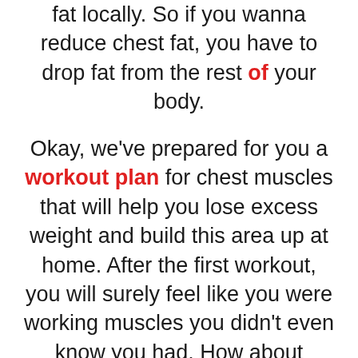fat locally. So if you wanna reduce chest fat, you have to drop fat from the rest of your body.

Okay, we've prepared for you a workout plan for chest muscles that will help you lose excess weight and build this area up at home. After the first workout, you will surely feel like you were working muscles you didn't even know you had. How about starting with the easiest exercise – push-ups? They work not only your chest muscles, or pecs, but triceps and shoulders as well and there're so many types of them...